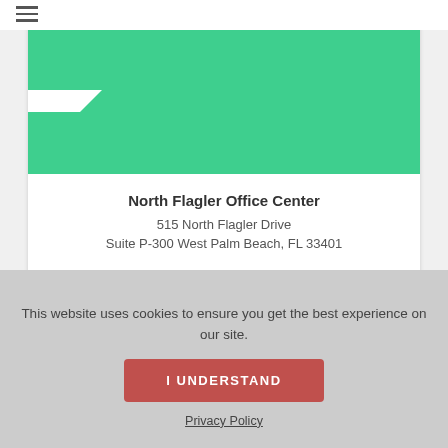[Figure (screenshot): Green header image area with a white notch cutout at the left side, part of a card UI]
North Flagler Office Center
515 North Flagler Drive
Suite P-300 West Palm Beach, FL 33401
[Figure (screenshot): Partial second card with a gray inner block visible]
This website uses cookies to ensure you get the best experience on our site.
I UNDERSTAND
Privacy Policy